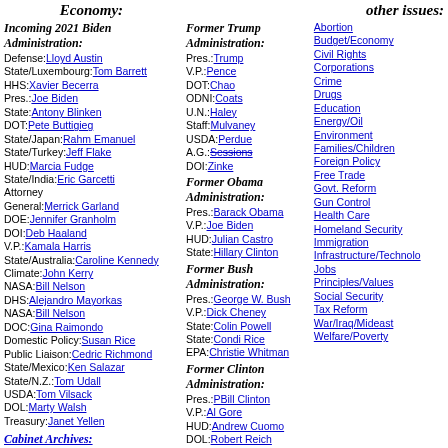Economy:       other issues:
Incoming 2021 Biden Administration:
Defense: Lloyd Austin
State/Luxembourg: Tom Barrett
HHS: Xavier Becerra
Pres.: Joe Biden
State: Antony Blinken
DOT: Pete Buttigieg
State/Japan: Rahm Emanuel
State/Turkey: Jeff Flake
HUD: Marcia Fudge
State/India: Eric Garcetti
Attorney General: Merrick Garland
DOE: Jennifer Granholm
DOI: Deb Haaland
V.P.: Kamala Harris
State/Australia: Caroline Kennedy
Climate: John Kerry
NASA: Bill Nelson
DHS: Alejandro Mayorkas
NASA: Bill Nelson
DOC: Gina Raimondo
Domestic Policy: Susan Rice
Public Liaison: Cedric Richmond
State/Mexico: Ken Salazar
State/N.Z.: Tom Udall
USDA: Tom Vilsack
DOL: Marty Walsh
Treasury: Janet Yellen
Cabinet Archives:
Biden Cabinet
Biden Administration
Trump Cabinet
Former Trump Administration:
Pres.: Trump
V.P.: Pence
DOT: Chao
ODNI: Coats
U.N.: Haley
Staff: Mulvaney
USDA: Perdue
A.G.: Sessions
DOI: Zinke
Former Obama Administration:
Pres.: Barack Obama
V.P.: Joe Biden
HUD: Julian Castro
State: Hillary Clinton
Former Bush Administration:
Pres.: George W. Bush
V.P.: Dick Cheney
State: Colin Powell
State: Condi Rice
EPA: Christie Whitman
Former Clinton Administration:
Pres.: PBill Clinton
V.P.: Al Gore
HUD: Andrew Cuomo
DOL: Robert Reich
Abortion
Budget/Economy
Civil Rights
Corporations
Crime
Drugs
Education
Energy/Oil
Environment
Families/Children
Foreign Policy
Free Trade
Govt. Reform
Gun Control
Health Care
Homeland Security
Immigration
Infrastructure/Technology
Jobs
Principles/Values
Social Security
Tax Reform
War/Iraq/Mideast
Welfare/Poverty